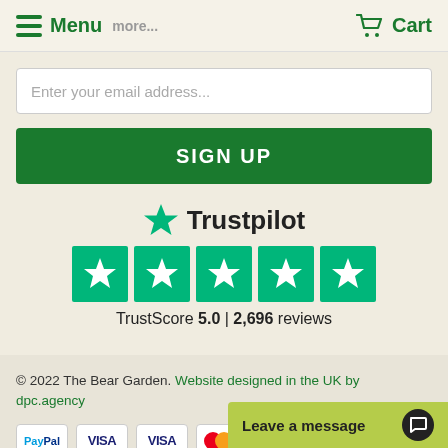Menu  Cart
Enter your email address...
SIGN UP
[Figure (logo): Trustpilot logo with green star and wordmark 'Trustpilot', five green star rating boxes, TrustScore 5.0 | 2,696 reviews]
© 2022 The Bear Garden. Website designed in the UK by dpc.agency
[Figure (other): Payment icons: PayPal, VISA, VISA, Mastercard, American Express]
Leave a message